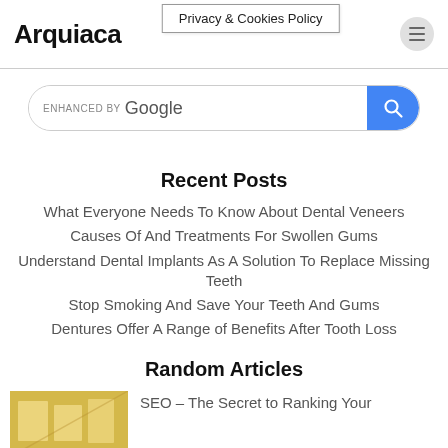Arquiaca | Privacy & Cookies Policy
[Figure (screenshot): Search bar with 'ENHANCED BY Google' branding and blue search button]
Recent Posts
What Everyone Needs To Know About Dental Veneers
Causes Of And Treatments For Swollen Gums
Understand Dental Implants As A Solution To Replace Missing Teeth
Stop Smoking And Save Your Teeth And Gums
Dentures Offer A Range of Benefits After Tooth Loss
Random Articles
SEO – The Secret to Ranking Your